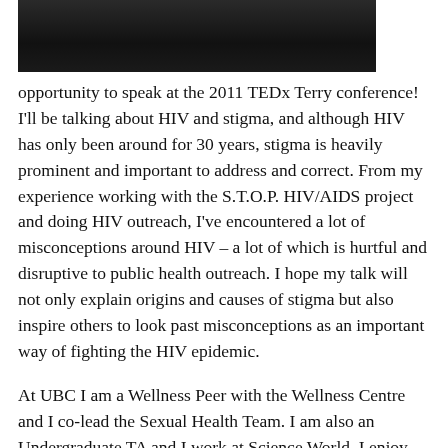[Figure (photo): Partial photo of a person, darkened, cropped at top of page]
opportunity to speak at the 2011 TEDx Terry conference! I'll be talking about HIV and stigma, and although HIV has only been around for 30 years, stigma is heavily prominent and important to address and correct. From my experience working with the S.T.O.P. HIV/AIDS project and doing HIV outreach, I've encountered a lot of misconceptions around HIV – a lot of which is hurtful and disruptive to public health outreach. I hope my talk will not only explain origins and causes of stigma but also inspire others to look past misconceptions as an important way of fighting the HIV epidemic.
At UBC I am a Wellness Peer with the Wellness Centre and I co-lead the Sexual Health Team. I am also an Undergraduate TA and I work at Science World. I enjoy running and hiking but have a soft spot for baked